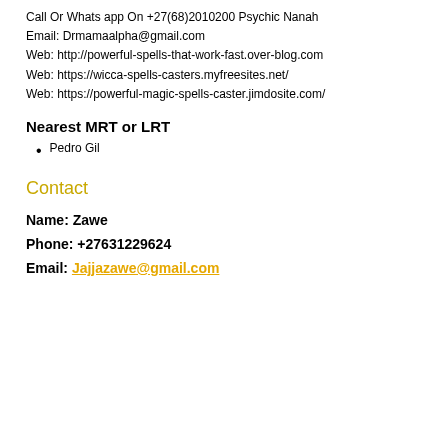Call Or Whats app On +27(68)2010200 Psychic Nanah
Email: Drmamaalpha@gmail.com
Web: http://powerful-spells-that-work-fast.over-blog.com
Web: https://wicca-spells-casters.myfreesites.net/
Web: https://powerful-magic-spells-caster.jimdosite.com/
Nearest MRT or LRT
Pedro Gil
Contact
Name: Zawe
Phone: +27631229624
Email: Jajjazawe@gmail.com